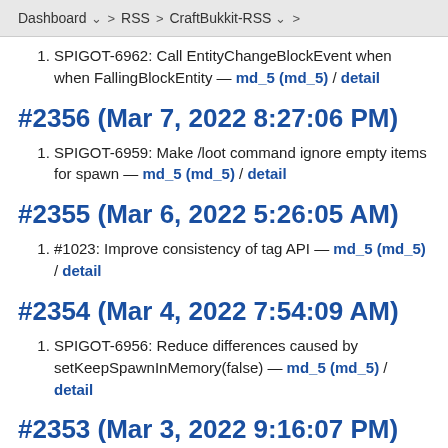Dashboard > RSS > CraftBukkit-RSS
SPIGOT-6962: Call EntityChangeBlockEvent when when FallingBlockEntity — md_5 (md_5) / detail
#2356 (Mar 7, 2022 8:27:06 PM)
SPIGOT-6959: Make /loot command ignore empty items for spawn — md_5 (md_5) / detail
#2355 (Mar 6, 2022 5:26:05 AM)
#1023: Improve consistency of tag API — md_5 (md_5) / detail
#2354 (Mar 4, 2022 7:54:09 AM)
SPIGOT-6956: Reduce differences caused by setKeepSpawnInMemory(false) — md_5 (md_5) / detail
#2353 (Mar 3, 2022 9:16:07 PM)